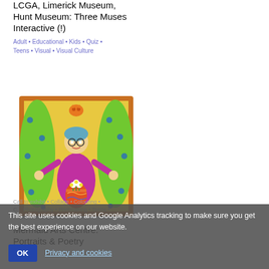LCGA, Limerick Museum, Hunt Museum: Three Muses Interactive (!)
Adult • Educational • Kids • Quiz • Teens • Visual • Visual Culture
Add to my list
[Figure (illustration): Colorful folk-art style painting in an orange frame showing an elderly woman with blue hair and glasses in a purple dress holding a vase of flowers, standing between green curtains with blue dots on a yellow background, with a small orange cat above.]
Mermaid Arts Centre: Portraits & Poetry
Call to exhibit • Collage • Colouring • C... Photography • Printmaking • Teens • Visual • Writing • You ... show
This site uses cookies and Google Analytics tracking to make sure you get the best experience on our website.
OK   Privacy and cookies